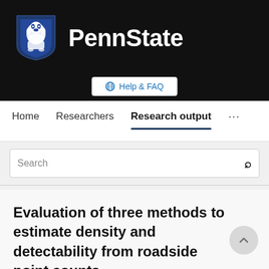[Figure (logo): Penn State shield logo with lion and text 'PennState' on dark background header]
Help & FAQ
Home   Researchers   Research output   ...
Search
Evaluation of three methods to estimate density and detectability from roadside point counts